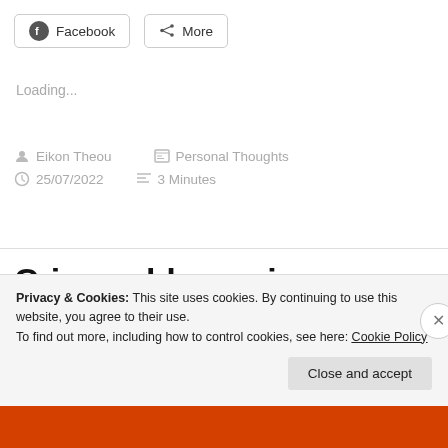Facebook   More
Loading...
Eikon Theou   Personal Thoughts
25/07/2022   3 Minutes
Crisp cold morning
Privacy & Cookies: This site uses cookies. By continuing to use this website, you agree to their use.
To find out more, including how to control cookies, see here: Cookie Policy
Close and accept